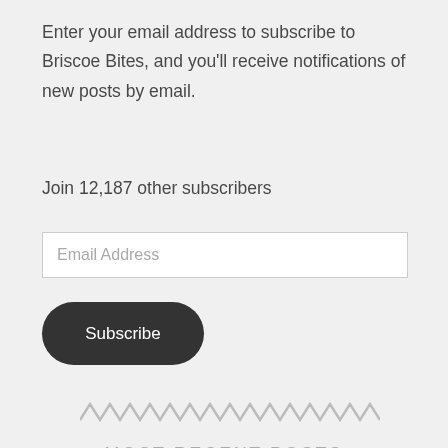Enter your email address to subscribe to Briscoe Bites, and you'll receive notifications of new posts by email.
Join 12,187 other subscribers
Email Address
Subscribe
[Figure (illustration): Decorative zigzag/wavy line divider in light gray color]
MOST RECENT POSTS
Latest Wine Headlines: August 21—26
WE Podcast Drop: What is Regenerative